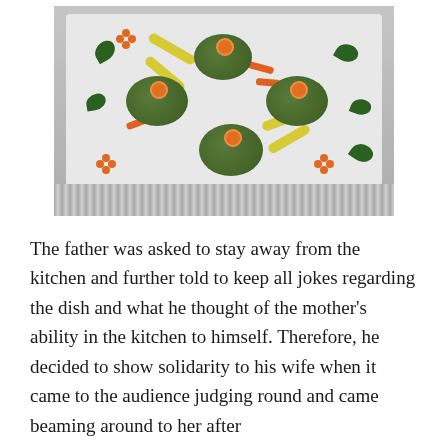[Figure (photo): A plated dish featuring five dome-shaped green falafel or herb-coated balls arranged on a white tray, each topped with an orange flower-shaped carrot decoration. The tray is garnished with yellow pepper strips, orange carrot sticks, and green herb leaves. The tray sits on a foil surface.]
The father was asked to stay away from the kitchen and further told to keep all jokes regarding the dish and what he thought of the mother’s ability in the kitchen to himself. Therefore, he decided to show solidarity to his wife when it came to the audience judging round and came beaming around to her after